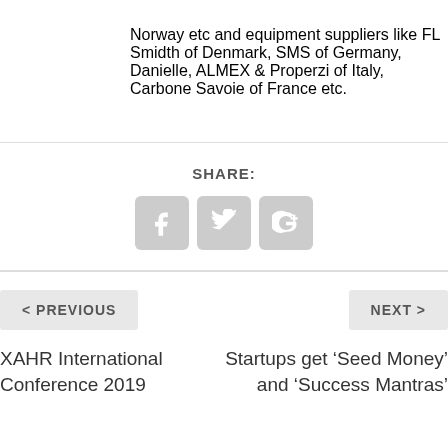Norway etc and equipment suppliers like FL Smidth of Denmark, SMS of Germany, Danielle, ALMEX & Properzi of Italy, Carbone Savoie of France etc.
SHARE:
[Figure (other): Social share buttons: Facebook, Twitter, Google+]
< PREVIOUS
NEXT >
XAHR International Conference 2019
Startups get ‘Seed Money’ and ‘Success Mantras’